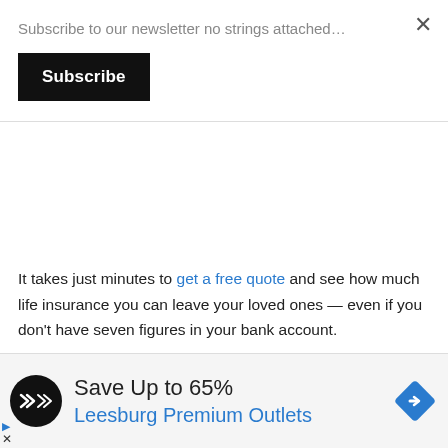Subscribe to our newsletter no strings attached…
Subscribe
It takes just minutes to get a free quote and see how much life insurance you can leave your loved ones — even if you don't have seven figures in your bank account.
3. Your Credit-Monitoring Service
u paying a company to watch your credit report? You
[Figure (infographic): Advertisement banner: black circular logo with double-arrow symbol, text 'Save Up to 65%' and 'Leesburg Premium Outlets' in blue, blue diamond navigation icon on right, small play and close icons on bottom left]